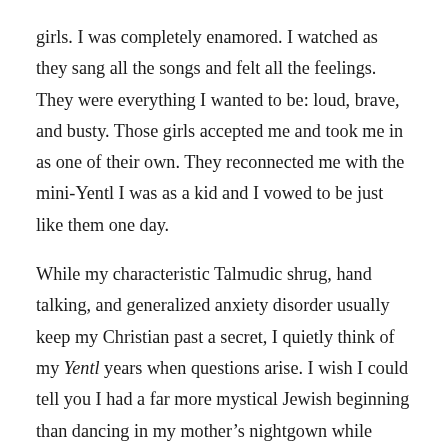girls. I was completely enamored. I watched as they sang all the songs and felt all the feelings. They were everything I wanted to be: loud, brave, and busty. Those girls accepted me and took me in as one of their own. They reconnected me with the mini-Yentl I was as a kid and I vowed to be just like them one day.
While my characteristic Talmudic shrug, hand talking, and generalized anxiety disorder usually keep my Christian past a secret, I quietly think of my Yentl years when questions arise. I wish I could tell you I had a far more mystical Jewish beginning than dancing in my mother's nightgown while listening to “Papa Can You Hear Me?” on repeat. That sounds far more like the